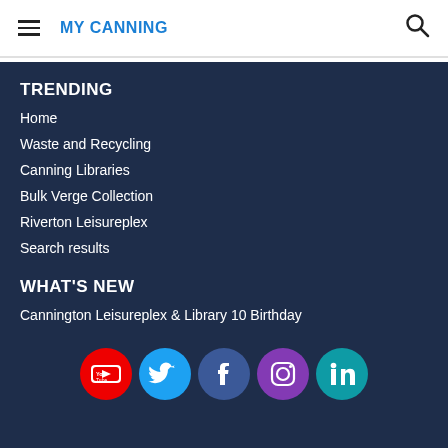MY CANNING
TRENDING
Home
Waste and Recycling
Canning Libraries
Bulk Verge Collection
Riverton Leisureplex
Search results
WHAT'S NEW
Cannington Leisureplex & Library 10 Birthday
[Figure (infographic): Row of 5 social media icons: YouTube (red), Twitter (cyan), Facebook (dark blue), Instagram (purple), LinkedIn (teal)]